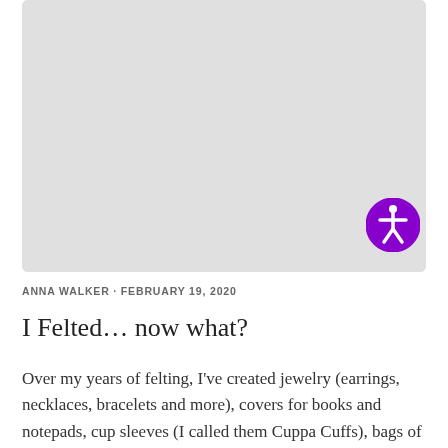[Figure (photo): Large gray placeholder image area at the top of the blog post]
ANNA WALKER · FEBRUARY 19, 2020
I Felted… now what?
Over my years of felting, I've created jewelry (earrings, necklaces, bracelets and more), covers for books and notepads, cup sleeves (I called them Cuppa Cuffs), bags of all sizes, and hats. And I feel like I've only just begun (cue the Carpenters) to explore all that